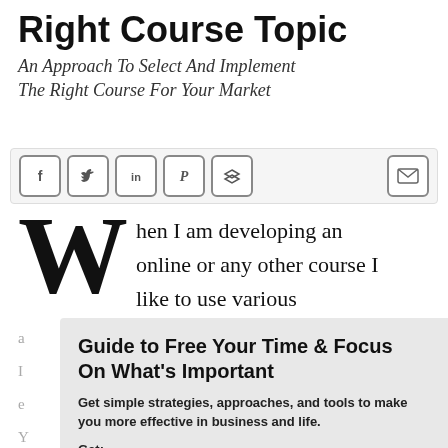Right Course Topic
An Approach To Select And Implement The Right Course For Your Market
[Figure (infographic): Social media sharing icons bar: Facebook, Twitter, LinkedIn, Pinterest, Buffer/layers, and email envelope icon]
When I am developing an online or any other course I like to use various
Guide to Free Your Time & Focus On What's Important
Get simple strategies, approaches, and tools to make you more effective in business and life.
Get: